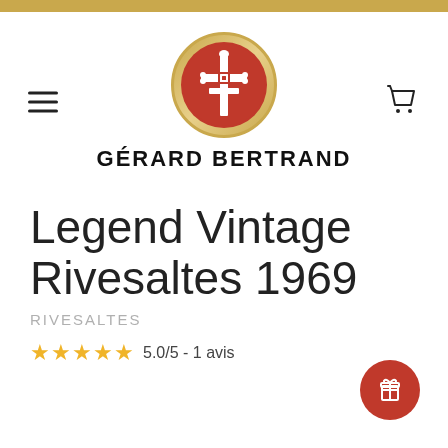[Figure (logo): Gérard Bertrand logo — red circular emblem with a decorative cross, surrounded by a gold ring, with the brand name GÉRARD BERTRAND below in bold black capitals]
Legend Vintage Rivesaltes 1969
RIVESALTES
★★★★★ 5.0/5 - 1 avis